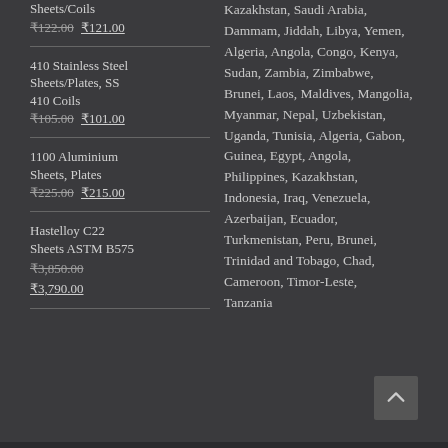Sheets/Coils ₹122.00 ₹121.00
410 Stainless Steel Sheets/Plates, SS 410 Coils ₹105.00 ₹101.00
1100 Aluminium Sheets, Plates ₹225.00 ₹215.00
Hastelloy C22 Sheets ASTM B575 ₹3,850.00 ₹3,790.00
Kazakhstan, Saudi Arabia, Dammam, Jiddah, Libya, Yemen, Algeria, Angola, Congo, Kenya, Sudan, Zambia, Zimbabwe, Brunei, Laos, Maldives, Mangolia, Myanmar, Nepal, Uzbekistan, Uganda, Tunisia, Algeria, Gabon, Guinea, Egypt, Angola, Philippines, Kazakhstan, Indonesia, Iraq, Venezuela, Azerbaijan, Ecuador, Turkmenistan, Peru, Brunei, Trinidad and Tobago, Chad, Cameroon, Timor-Leste, Tanzania